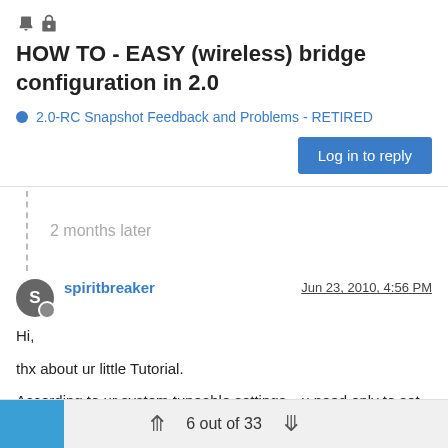HOW TO - EASY (wireless) bridge configuration in 2.0
2.0-RC Snapshot Feedback and Problems - RETIRED
Log in to reply
2 months later
spiritbreaker   Jun 23, 2010, 4:56 PM
Hi,
thx about ur little Tutorial.
According to ur system tuneable settings…u need only to set Spanning tree on LAN interface or
u still need to set it on Memberinterfaces or all Members and LAN (bridge0)?
6 out of 33